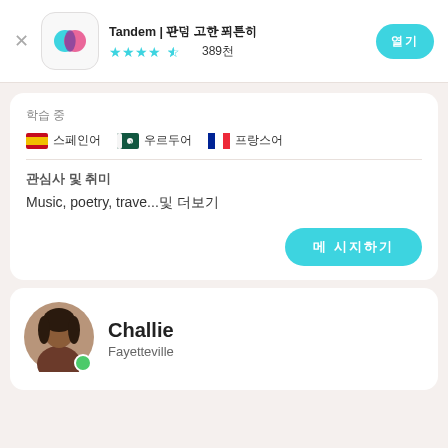Tandem | 언어 교환 파트너 찾기  ★★★★½ 389천
학습 중
🇪🇸 스페인어  🇵🇰 우르두어  🇫🇷 프랑스어
관심사 및 취미
Music, poetry, trave...및 더보기
메 시지하기
Challie
Fayetteville